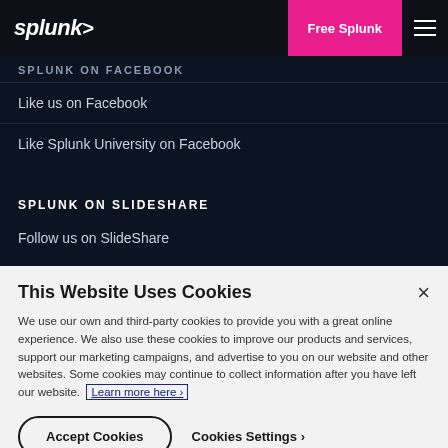splunk> | Free Splunk
SPLUNK ON FACEBOOK
Like us on Facebook
Like Splunk University on Facebook
SPLUNK ON SLIDESHARE
Follow us on SlideShare
This Website Uses Cookies
We use our own and third-party cookies to provide you with a great online experience. We also use these cookies to improve our products and services, support our marketing campaigns, and advertise to you on our website and other websites. Some cookies may continue to collect information after you have left our website. Learn more here ›
Accept Cookies | Cookies Settings ›